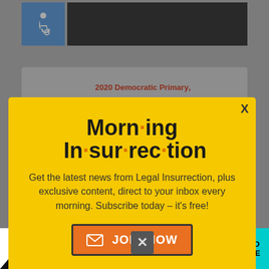[Figure (screenshot): Wheelchair accessibility icon in blue square]
[Figure (screenshot): Black banner/header bar]
2020 Democratic Primary,
[Figure (infographic): Yellow modal popup for Morning Insurrection newsletter with JOIN NOW button]
Morn·ing In·sur·rec·tion
Get the latest news from Legal Insurrection, plus exclusive content, direct to your inbox every morning. Subscribe today – it's free!
JOIN NOW
Now, Warren has deep and authentic' Christian faith. What are we
of celibacy and poverty whereupon he
[Figure (infographic): The Perspective advertisement bar at bottom: SEE WHAT YOU'RE MISSING / READ MORE]